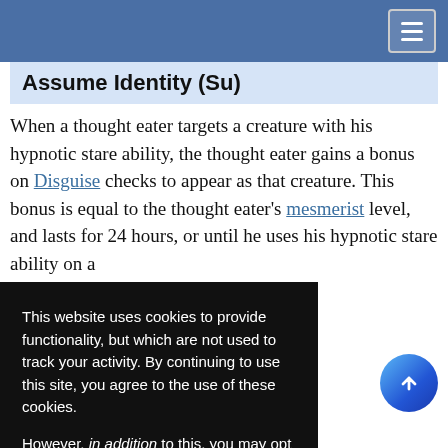Navigation bar with hamburger menu
Assume Identity (Su)
When a thought eater targets a creature with his hypnotic stare ability, the thought eater gains a bonus on Disguise checks to appear as that creature. This bonus is equal to the thought eater's mesmerist level, and lasts for 24 hours, or until he uses his hypnotic stare ability on a different creature.
This website uses cookies to provide functionality, but which are not used to track your activity. By continuing to use this site, you agree to the use of these cookies.

However, in addition to this, you may opt into your activity being tracked in order to help us improve our service.

For more information, please click here
...gnment
...sume identity d effects that y increase t features, such